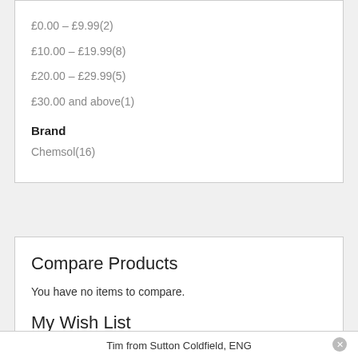£0.00 – £9.99(2)
£10.00 – £19.99(8)
£20.00 – £29.99(5)
£30.00 and above(1)
Brand
Chemsol(16)
Compare Products
You have no items to compare.
My Wish List
Tim from Sutton Coldfield, ENG